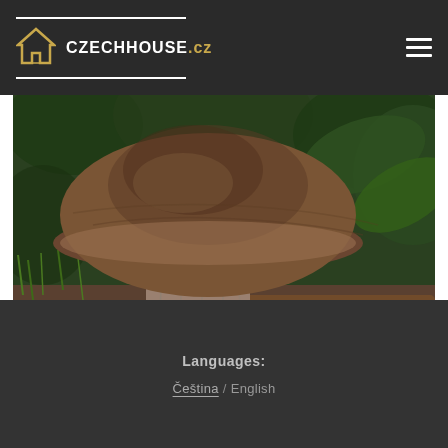CZECHHOUSE.cz
[Figure (photo): A large brown porcini mushroom (boletus) with a wide cap, growing in a forest floor setting with green foliage and dried pine needles in the background.]
Languages:
Čeština / English